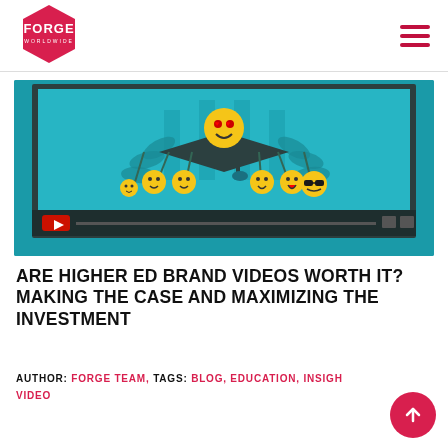[Figure (logo): Forge Worldwide logo — hexagonal red shape with white FORGE text and WORLDWIDE in small caps]
[Figure (screenshot): Video thumbnail showing animated emoji faces with graduation cap on teal background, with YouTube-style player controls at bottom]
ARE HIGHER ED BRAND VIDEOS WORTH IT? MAKING THE CASE AND MAXIMIZING THE INVESTMENT
AUTHOR: FORGE TEAM, TAGS: BLOG, EDUCATION, INSIGHTS, VIDEO